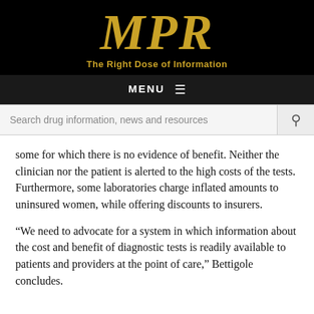[Figure (logo): MPR logo — large gold italic serif letters on black background with tagline 'The Right Dose of Information' in gold below]
MENU ≡
Search drug information, news and resources
some for which there is no evidence of benefit. Neither the clinician nor the patient is alerted to the high costs of the tests. Furthermore, some laboratories charge inflated amounts to uninsured women, while offering discounts to insurers.
“We need to advocate for a system in which information about the cost and benefit of diagnostic tests is readily available to patients and providers at the point of care,” Bettigole concludes.